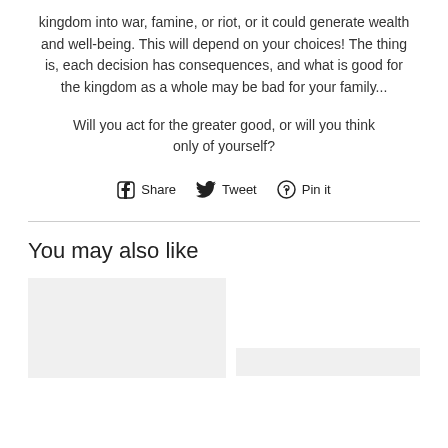kingdom into war, famine, or riot, or it could generate wealth and well-being. This will depend on your choices! The thing is, each decision has consequences, and what is good for the kingdom as a whole may be bad for your family...
Will you act for the greater good, or will you think only of yourself?
Share  Tweet  Pin it
You may also like
[Figure (photo): Two product thumbnail images below 'You may also like' section]